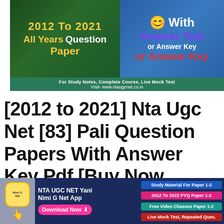[Figure (infographic): Promotional banner for NTA UGC NET 2012 to 2021 All Years Question Paper With Answer Tick or Answer Key. Left side has dark green background with yellow and white text. Right side has blue background with purple and red text. Bottom strip is green with website info.]
[2012 to 2021] Nta Ugc Net [83] Pali Question Papers With Answer Key Pdf [Buy Now 30Rs]
[Figure (infographic): NTA UGC NET Yani Nimi G Net App advertisement banner. Dark blue background with app icon, Download Now button, and feature tags: Study Material For Paper 1-2, 2012 To 2022 PYQ Paper 1-2, Free Video Chasses Paper 1-2, Live Mock Test, Repeated Ques.]